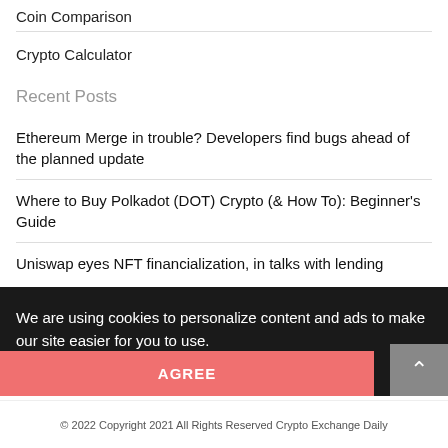Coin Comparison
Crypto Calculator
Recent Posts
Ethereum Merge in trouble? Developers find bugs ahead of the planned update
Where to Buy Polkadot (DOT) Crypto (& How To): Beginner's Guide
Uniswap eyes NFT financialization, in talks with lending
We are using cookies to personalize content and ads to make our site easier for you to use.
Learn More
AGREE
© 2022 Copyright 2021 All Rights Reserved Crypto Exchange Daily